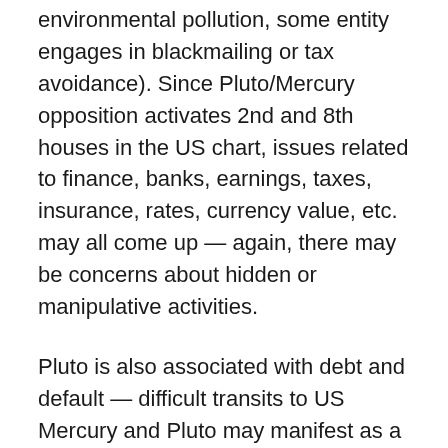environmental pollution, some entity engages in blackmailing or tax avoidance). Since Pluto/Mercury opposition activates 2nd and 8th houses in the US chart, issues related to finance, banks, earnings, taxes, insurance, rates, currency value, etc. may all come up — again, there may be concerns about hidden or manipulative activities.
Pluto is also associated with debt and default — difficult transits to US Mercury and Pluto may manifest as a large company or even utility defaulting, declaring bankruptcy, going under etc. in the related areas, inlc. Plutonian domains, such as power plants (esp. related to nuclear power), recycling facilities, trash removal facilities, facilities responsible for storing trash, morgues, prisons; and Mercurial domains, such as communication and transportation companies, rental car companies, car